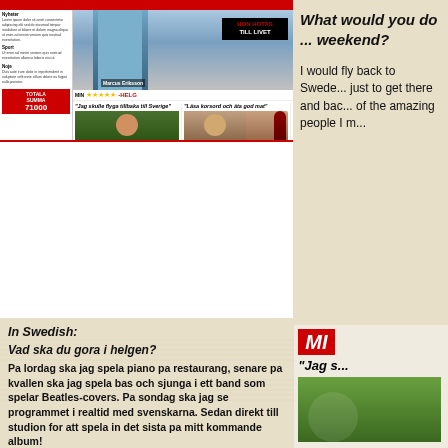[Figure (photo): Newspaper clipping mockup showing a Swedish tabloid with photos of people, 'HON HOTAS TILL LIVET' headline, stars rating, and content about weekend activities]
What would you do ... weekend?
I would fly back to Sweden, just to get there and back, of the amazing people I r...
In Swedish:
Vad ska du gora i helgen?
Pa lordag ska jag spela piano pa restaurang, senare pa kvallen ska jag spela bas och sjunga i ett band som spelar Beatles-covers. Pa sondag ska jag se programmet i realtid med svenskarna. Sedan direkt till studion for att spela in det sista pa mitt kommande album!
Hur ser din femplus-helg ut?
Da skulle jag flyga tillbaka till Sverige, det skulle ju ta hela helgen att bara aka fram och tillbaka. Men om jag fick lite mer tid skulle jag leta upp nagra av alla de fantastiska manniskor jag traffade nar jag var dar.
[Figure (photo): Partial view of Swedish newspaper with MI logo (red), 'Jag s...' headline, green foliage photo, and partial text about Fresno, K with question about weekend activities]